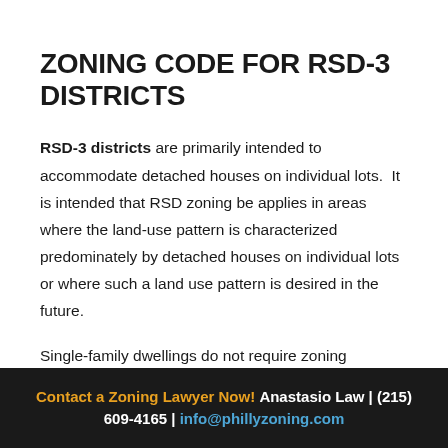ZONING CODE FOR RSD-3 DISTRICTS
RSD-3 districts are primarily intended to accommodate detached houses on individual lots. It is intended that RSD zoning be applies in areas where the land-use pattern is characterized predominately by detached houses on individual lots or where such a land use pattern is desired in the future.
Single-family dwellings do not require zoning
Contact a Zoning Lawyer Now! Anastasio Law | (215) 609-4165 | info@phillyzoning.com